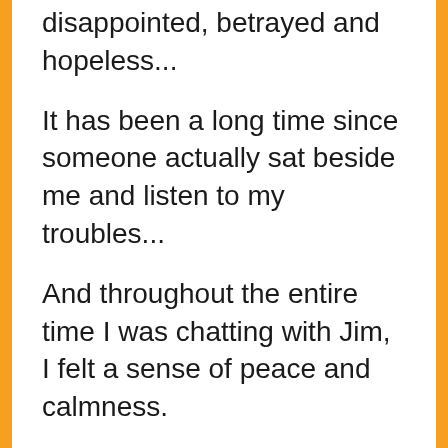disappointed, betrayed and hopeless...
It has been a long time since someone actually sat beside me and listen to my troubles...
And throughout the entire time I was chatting with Jim, I felt a sense of peace and calmness.
And the weird thing is, even though I feel that it was just a short chat, but in reality, 3 hours had passed.
And it was time for me to fetch my